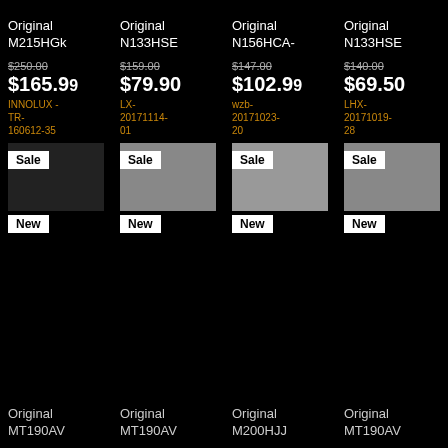Original M215HGK
Original N133HSE
Original N156HCA-
Original N133HSE
$250.00 → $165.99, INNOLUX-TR-160612-35, Sale, New
$159.00 → $79.90, LX-20171114-01, Sale, New
$147.00 → $102.99, wzb-20171023-20, Sale, New
$140.00 → $69.50, LHX-20171019-28, Sale, New
Original MT190AV
Original MT190AV
Original M200HJJ
Original MT190AV